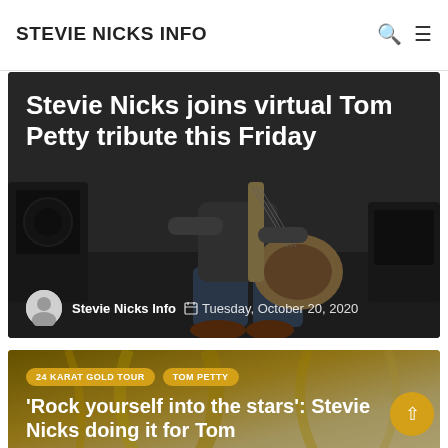STEVIE NICKS INFO
[Figure (photo): Dark photo of a guitarist sitting on a stool playing an electric guitar, with amplifiers in the background. Overlaid text reads 'Stevie Nicks joins virtual Tom Petty tribute this Friday' with author 'Stevie Nicks Info' and date 'Tuesday, October 20, 2020'.]
Stevie Nicks joins virtual Tom Petty tribute this Friday
Stevie Nicks Info  Tuesday, October 20, 2020
[Figure (photo): Photo with golden/blonde tones (hair close-up), with category pills '24 KARAT GOLD TOUR' and 'TOM PETTY', and overlaid title text: ‘Rock yourself into the stars’: Stevie Nicks doing it for Tom]
‘Rock yourself into the stars’: Stevie Nicks doing it for Tom